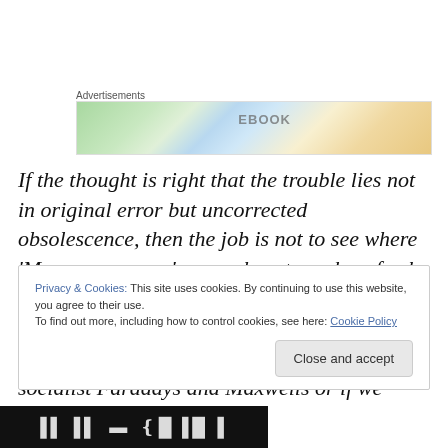Advertisements
[Figure (photo): Advertisement banner image showing colorful book covers or stationery items]
If the thought is right that the trouble lies not in original error but uncorrected obsolescence, then the job is not to see where ‘Marx was wrong’ so much as to make a fresh application of his theory to the world around us as it is, not as it once was. To borrow a comparison from the field of physics, we need socialist Faradays and Maxwells or if we
Privacy & Cookies: This site uses cookies. By continuing to use this website, you agree to their use.
To find out more, including how to control cookies, see here: Cookie Policy
Close and accept
[Figure (photo): Dark/black image at bottom of page with white typographic text]